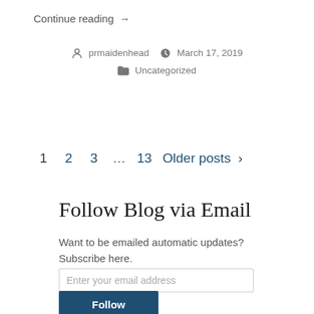Continue reading →
prmaidenhead  March 17, 2019
Uncategorized
1  2  3  …  13  Older posts >
Follow Blog via Email
Want to be emailed automatic updates? Subscribe here.
Enter your email address
Follow